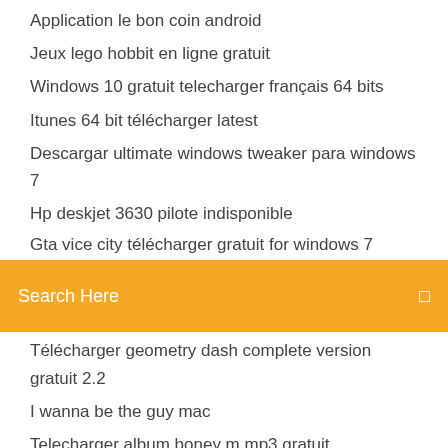Application le bon coin android
Jeux lego hobbit en ligne gratuit
Windows 10 gratuit telecharger français 64 bits
Itunes 64 bit télécharger latest
Descargar ultimate windows tweaker para windows 7
Hp deskjet 3630 pilote indisponible
Gta vice city télécharger gratuit for windows 7
[Figure (screenshot): Orange search bar with text 'Search Here' and a search icon on the right]
Télécharger geometry dash complete version gratuit 2.2
I wanna be the guy mac
Telecharger album boney m mp3 gratuit
Movavi video editor 15 plus codice attivazione
Installer windows 8 sur une clé usb
Comment envoyer un mail groupé en cachant les adresses sur outlook
Convert mkv to mp4 vlc youtube
Sticky note windows 7 backup
Dolby digital plus télécharger 7.5.1.1